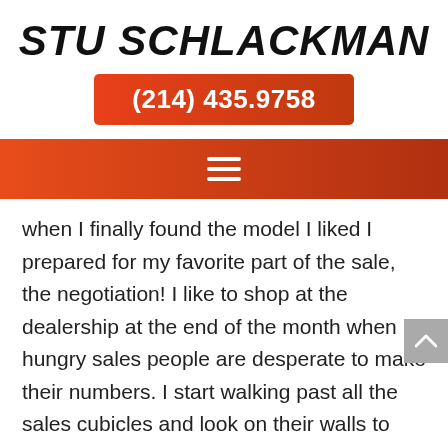STU SCHLACKMAN
(214) 435.9758
[Figure (other): Navigation bar with hamburger menu icon (three horizontal lines) on a red-to-dark-orange gradient background]
when I finally found the model I liked I prepared for my favorite part of the sale, the negotiation! I like to shop at the dealership at the end of the month when hungry sales people are desperate to make their numbers. I start walking past all the sales cubicles and look on their walls to see how many “Salesperson of the Month” plaques they have. As I walked past the fourth cubicle, there he was – my ideal sales rep – the one with a nice clean wall behind